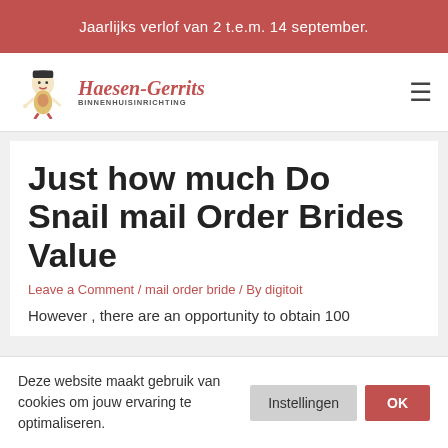Jaarlijks verlof van 2 t.e.m. 14 september.
[Figure (logo): Haesen-Gerrits Binnenhuisinrichting logo with illustrated mascot character]
Just how much Do Snail mail Order Brides Value
Leave a Comment / mail order bride / By digitoit
However , there are an opportunity to obtain 100
Deze website maakt gebruik van cookies om jouw ervaring te optimaliseren.